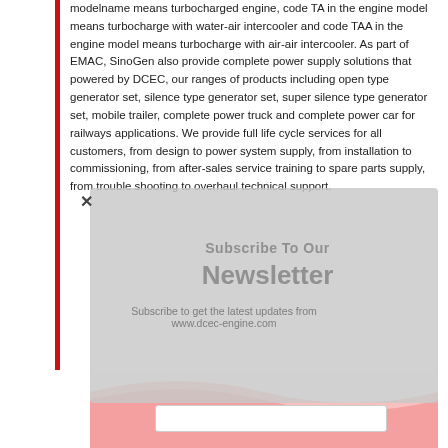modelname means turbocharged engine, code TA in the engine model means turbocharge with water-air intercooler and code TAA in the engine model means turbocharge with air-air intercooler. As part of EMAC, SinoGen also provide complete power supply solutions that powered by DCEC, our ranges of products including open type generator set, silence type generator set, super silence type generator set, mobile trailer, complete power truck and complete power car for railways applications. We provide full life cycle services for all customers, from design to power system supply, from installation to commissioning, from after-sales service training to spare parts supply, from trouble shooting to overhaul technical support.
[Figure (other): Newsletter subscription overlay popup with title 'Subscribe To Our Newsletter', subtitle 'Subscribe to get the latest updates from www.dcec-engine.com', a pink/red wave background at the bottom, and an email input field. A close X button appears at the top-left of the overlay.]